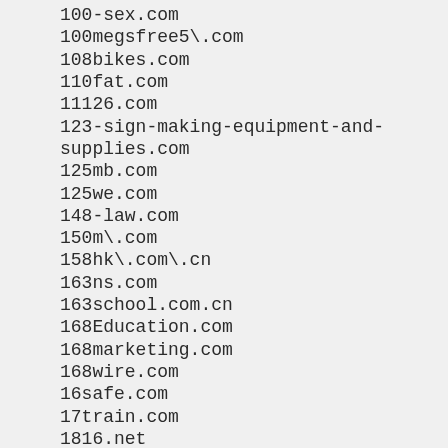100-sex.com
100megsfree5\.com
108bikes.com
110fat.com
11126.com
123-sign-making-equipment-and-supplies.com
125mb.com
125we.com
148-law.com
150m\.com
158hk\.com\.cn
163ns.com
163school.com.cn
168Education.com
168marketing.com
168wire.com
16safe.com
17train.com
1816.net
18caixin.com
18ny.com
18show.cn
1accesshost\.com
1afm\.com
1aonhost.com